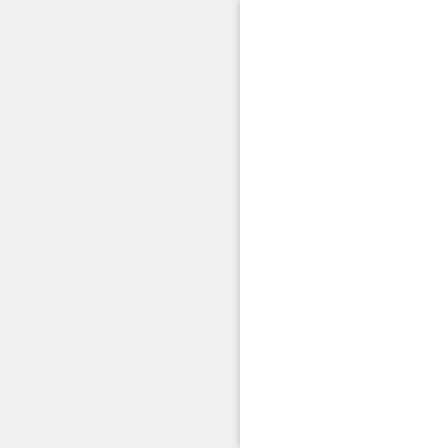weeks now and won't see him for at least another 3 weeks in fact could be many more weeks as nobody wants to listen to me.the ex has been abused as a child and spent most of her life in care and her 2 children have been involved with social workers at child protection level for quite some time.since I became involved in 2014 with the family we have gone from child protection to no involvement.my ex left me making alsorts of allegations with the aim to stop any contact between me and my son.we have had a great relationship and the ex is trying to make things